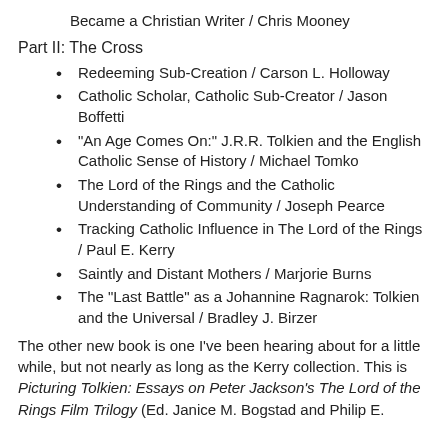Became a Christian Writer / Chris Mooney
Part II: The Cross
Redeeming Sub-Creation / Carson L. Holloway
Catholic Scholar, Catholic Sub-Creator / Jason Boffetti
“An Age Comes On:” J.R.R. Tolkien and the English Catholic Sense of History / Michael Tomko
The Lord of the Rings and the Catholic Understanding of Community / Joseph Pearce
Tracking Catholic Influence in The Lord of the Rings / Paul E. Kerry
Saintly and Distant Mothers / Marjorie Burns
The “Last Battle” as a Johannine Ragnarok: Tolkien and the Universal / Bradley J. Birzer
The other new book is one I’ve been hearing about for a little while, but not nearly as long as the Kerry collection. This is Picturing Tolkien: Essays on Peter Jackson’s The Lord of the Rings Film Trilogy (Ed. Janice M. Bogstad and Philip E.